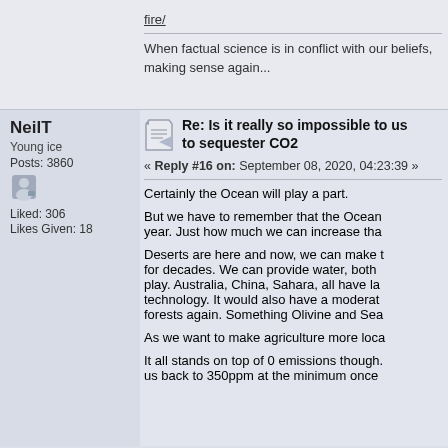fire/
When factual science is in conflict with our beliefs, the world stops making sense again...
NeilT
Young ice
Posts: 3860
Liked: 306
Likes Given: 18
Re: Is it really so impossible to us... to sequester CO2
« Reply #16 on: September 08, 2020, 04:23:39 »
Certainly the Ocean will play a part.
But we have to remember that the Ocean... year.  Just how much we can increase tha...
Deserts are here and now, we can make t... for decades.  We can provide water, both... play.  Australia, China, Sahara, all have la... technology.  It would also have a moderat... forests again.  Something Olivine and Sea...
As we want to make agriculture more loca...
It all stands on top of 0 emissions though.... us back to 350ppm at the minimum once...